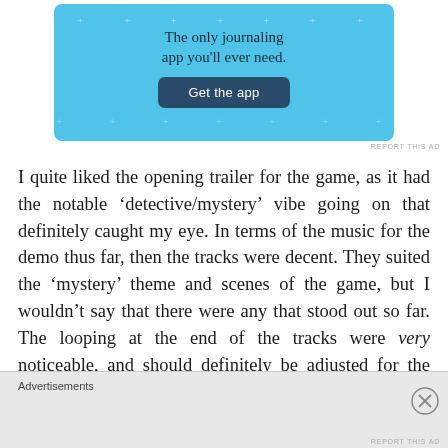[Figure (screenshot): Advertisement banner with light blue background showing text 'The only journaling app you'll ever need.' and a dark blue 'Get the app' button]
REPORT THIS AD
I quite liked the opening trailer for the game, as it had the notable ‘detective/mystery’ vibe going on that definitely caught my eye. In terms of the music for the demo thus far, then the tracks were decent. They suited the ‘mystery’ theme and scenes of the game, but I wouldn’t say that there were any that stood out so far. The looping at the end of the tracks were very noticeable, and should definitely be adjusted for the final version.
Advertisements